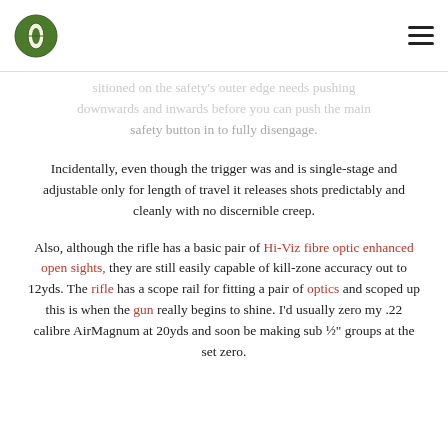[logo] [hamburger menu]
sitioned on the safety's outer edge needs pushing downwards and inwards before you can push the main safety button in to fully disengage.
Incidentally, even though the trigger was and is single-stage and adjustable only for length of travel it releases shots predictably and cleanly with no discernible creep.
Also, although the rifle has a basic pair of Hi-Viz fibre optic enhanced open sights, they are still easily capable of kill-zone accuracy out to 12yds. The rifle has a scope rail for fitting a pair of optics and scoped up this is when the gun really begins to shine. I'd usually zero my .22 calibre AirMagnum at 20yds and soon be making sub ½" groups at the set zero.